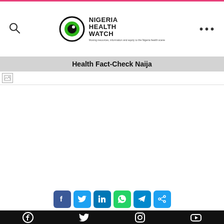[Figure (logo): Nigeria Health Watch logo with eye icon and tagline]
Health Fact-Check Naija
[Figure (photo): Featured article image placeholder (broken image icon)]
[Figure (infographic): Social share buttons: Facebook, Twitter, LinkedIn, WhatsApp, Telegram, Share]
Footer with Facebook, Twitter, Instagram, YouTube social icons on black background